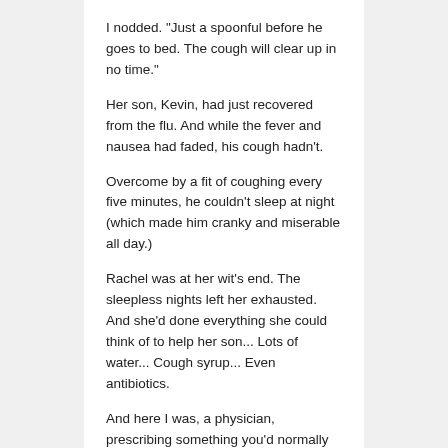I nodded. "Just a spoonful before he goes to bed. The cough will clear up in no time."
Her son, Kevin, had just recovered from the flu. And while the fever and nausea had faded, his cough hadn't.
Overcome by a fit of coughing every five minutes, he couldn't sleep at night (which made him cranky and miserable all day.)
Rachel was at her wit's end. The sleepless nights left her exhausted. And she'd done everything she could think of to help her son... Lots of water... Cough syrup... Even antibiotics.
And here I was, a physician, prescribing something you'd normally drizzle over oatmeal or spread on toast.
Truth be told though, I could sympathize with her skepticism. For when I first heard about honey's life-giving properties...
I Didn't Believe the Science